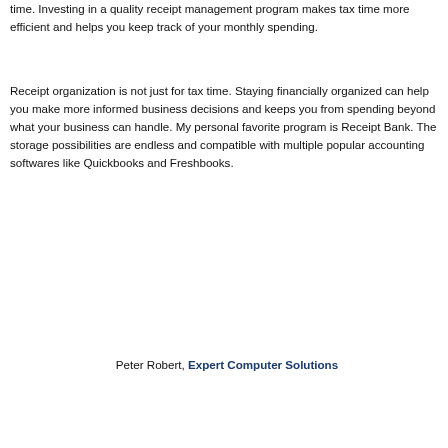time. Investing in a quality receipt management program makes tax time more efficient and helps you keep track of your monthly spending.
Receipt organization is not just for tax time. Staying financially organized can help you make more informed business decisions and keeps you from spending beyond what your business can handle. My personal favorite program is Receipt Bank. The storage possibilities are endless and compatible with multiple popular accounting softwares like Quickbooks and Freshbooks.
Peter Robert, Expert Computer Solutions